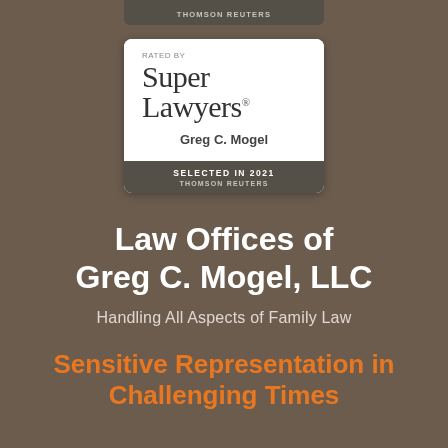[Figure (logo): Super Lawyers badge rated by Thomson Reuters, selected in 2021, for Greg C. Mogel]
Law Offices of Greg C. Mogel, LLC
Handling All Aspects of Family Law
Sensitive Representation in Challenging Times